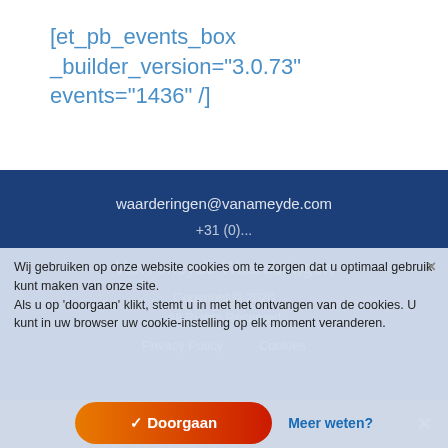[et_pb_events_box _builder_version="3.0.73" events="1436" /]
waarderingen@vanameyde.com
Van Ameyde Waarderingen
Copyright © 2020
All Rights Reserved
Privacy Policy   Cookies
Wij gebruiken op onze website cookies om te zorgen dat u optimaal gebruik kunt maken van onze site.
Als u op 'doorgaan' klikt, stemt u in met het ontvangen van de cookies. U kunt in uw browser uw cookie-instelling op elk moment veranderen.
✓ Doorgaan
Meer weten?
Share This ∨  ✕